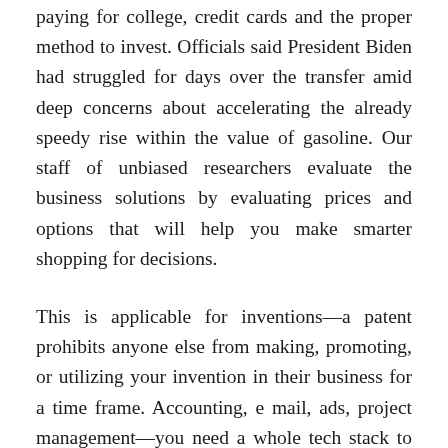paying for college, credit cards and the proper method to invest. Officials said President Biden had struggled for days over the transfer amid deep concerns about accelerating the already speedy rise within the value of gasoline. Our staff of unbiased researchers evaluate the business solutions by evaluating prices and options that will help you make smarter shopping for decisions.
This is applicable for inventions—a patent prohibits anyone else from making, promoting, or utilizing your invention in their business for a time frame. Accounting, e mail, ads, project management—you need a whole tech stack to run your business. Your business is topic to the laws governing businesses in your area, in addition to laws and regulations particular to your business. It's essential to understand this to keep away from larger issues down the road.